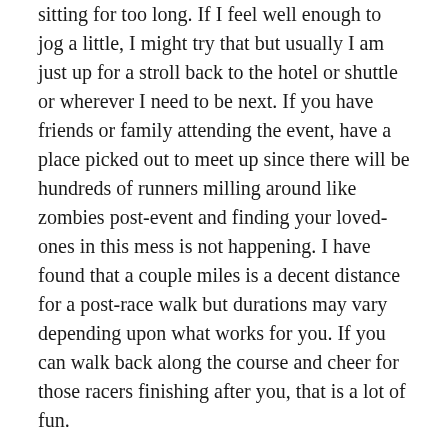sitting for too long. If I feel well enough to jog a little, I might try that but usually I am just up for a stroll back to the hotel or shuttle or wherever I need to be next. If you have friends or family attending the event, have a place picked out to meet up since there will be hundreds of runners milling around like zombies post-event and finding your loved-ones in this mess is not happening. I have found that a couple miles is a decent distance for a post-race walk but durations may vary depending upon what works for you. If you can walk back along the course and cheer for those racers finishing after you, that is a lot of fun.
Once I get back to my room, I jump in an ice bath then follow this with a warm bath to help flush my legs. Not the most pleasant of experiences but I do find that it helps reduce the inflammation in my legs and puts me on the road to recovery. I also try to get